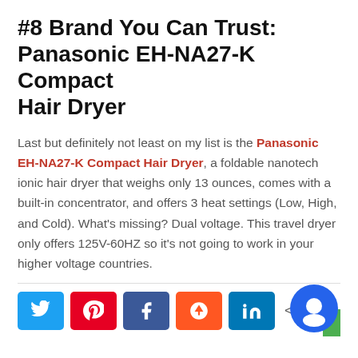#8 Brand You Can Trust: Panasonic EH-NA27-K Compact Hair Dryer
Last but definitely not least on my list is the Panasonic EH-NA27-K Compact Hair Dryer, a foldable nanotech ionic hair dryer that weighs only 13 ounces, comes with a built-in concentrator, and offers 3 heat settings (Low, High, and Cold). What's missing? Dual voltage. This travel dryer only offers 125V-60HZ so it's not going to work in your higher voltage countries.